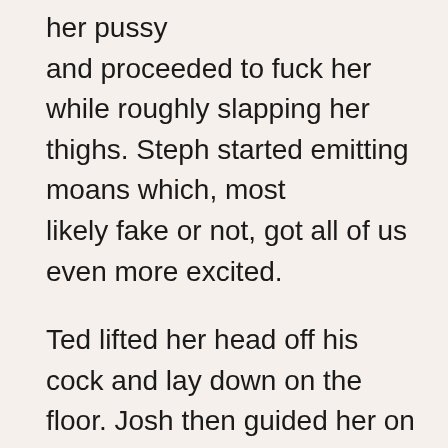her pussy and proceeded to fuck her while roughly slapping her thighs. Steph started emitting moans which, most likely fake or not, got all of us even more excited.

Ted lifted her head off his cock and lay down on the floor. Josh then guided her on top of Ted who slid his giant member into her undoubtedly